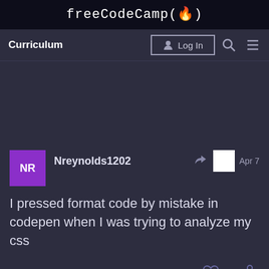freeCodeCamp(🔥)
Curriculum
Log In
Nreynolds1202  Apr 7
I pressed format code by mistake in codepen when I was trying to analyze my css